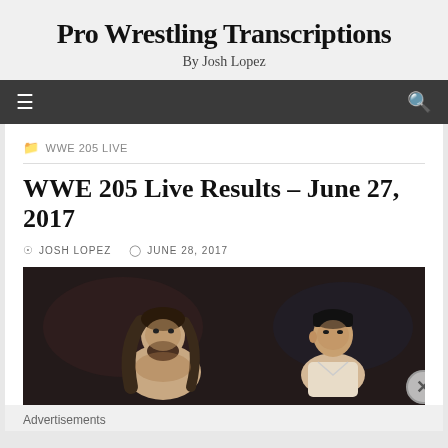Pro Wrestling Transcriptions
By Josh Lopez
WWE 205 LIVE
WWE 205 Live Results – June 27, 2017
JOSH LOPEZ   JUNE 28, 2017
[Figure (photo): Two pro wrestlers facing off: a man with long dark hair and beard on the left, and an Asian man on the right, against a dark arena background]
Advertisements